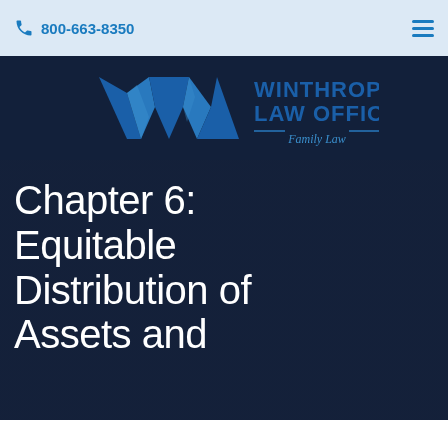800-663-8350
[Figure (logo): Winthrop Law Offices logo — stylized W mark in blue tones with text 'WINTHROP LAW OFFICES — Family Law —']
Chapter 6: Equitable Distribution of Assets and